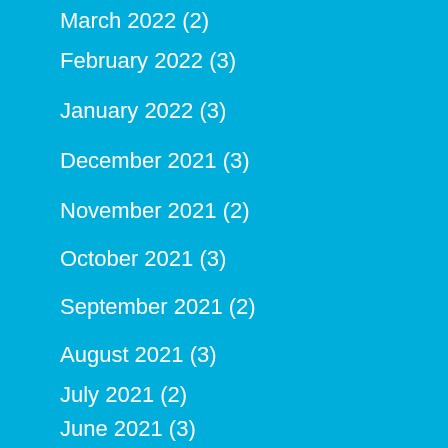March 2022 (2)
February 2022 (3)
January 2022 (3)
December 2021 (3)
November 2021 (2)
October 2021 (3)
September 2021 (2)
August 2021 (3)
July 2021 (2)
June 2021 (3)
May 2021 (6)